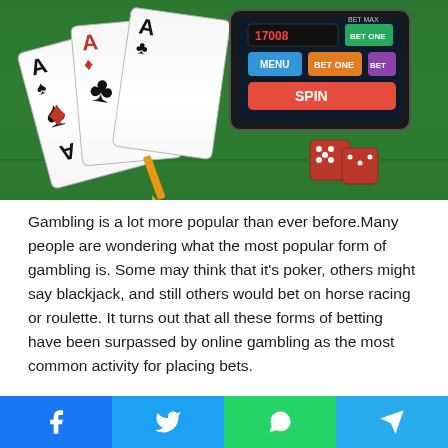[Figure (photo): Casino gambling themed photo showing playing cards (aces of spades and diamonds), a smartphone/tablet with a slot machine interface (MENU, BET ONE, BET MAX, SPIN buttons), red dice, and a green casino felt table background with roulette number 12]
Gambling is a lot more popular than ever before.Many people are wondering what the most popular form of gambling is. Some may think that it's poker, others might say blackjack, and still others would bet on horse racing or roulette. It turns out that all these forms of betting have been surpassed by online gambling as the most common activity for placing bets.
Online gambling is one of the most popular methods for people to make money by playing games on their computers or smartphones. If you're a gambler, you've probably heard of many different ways to gamble online or even from home.